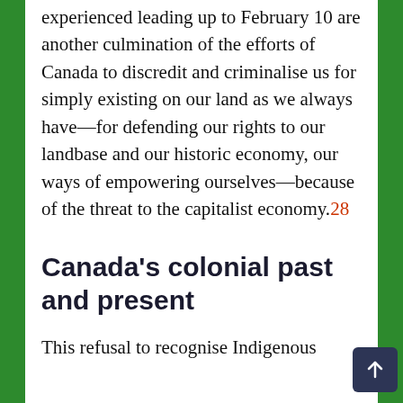experienced leading up to February 10 are another culmination of the efforts of Canada to discredit and criminalise us for simply existing on our land as we always have—for defending our rights to our landbase and our historic economy, our ways of empowering ourselves—because of the threat to the capitalist economy.28
Canada's colonial past and present
This refusal to recognise Indigenous